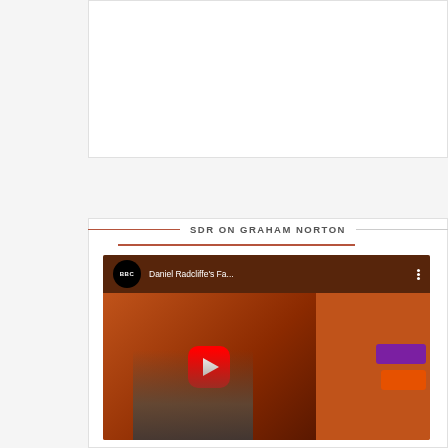[Figure (other): White card area at top of page (partially visible content area)]
SDR ON GRAHAM NORTON
[Figure (screenshot): YouTube video thumbnail showing BBC video titled 'Daniel Radcliffe's Fa...' with a play button, BBC logo, and a person visible in the lower portion. Orange and dark background with purple and orange bars on the right side.]